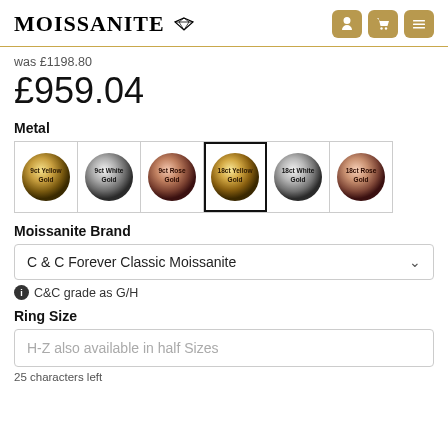MOISSANITE
was £1198.80
£959.04
Metal
[Figure (other): Six metal option swatches in a grid: 9ct Yellow Gold, 9ct White Gold, 9ct Rose Gold, 18ct Yellow Gold (selected), 18ct White Gold, 18ct Rose Gold]
Moissanite Brand
C & C Forever Classic Moissanite
C&C grade as G/H
Ring Size
H-Z also available in half Sizes
25 characters left